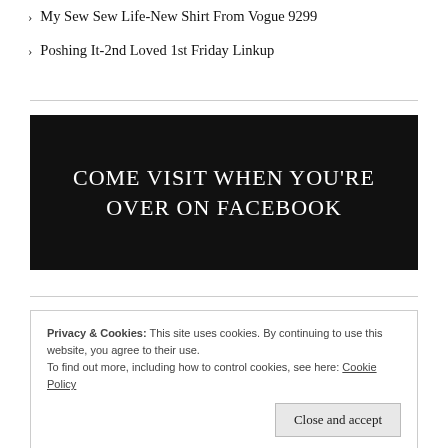My Sew Sew Life-New Shirt From Vogue 9299
Poshing It-2nd Loved 1st Friday Linkup
[Figure (other): Black banner with white uppercase text: COME VISIT WHEN YOU'RE OVER ON FACEBOOK]
Privacy & Cookies: This site uses cookies. By continuing to use this website, you agree to their use.
To find out more, including how to control cookies, see here: Cookie Policy
Close and accept